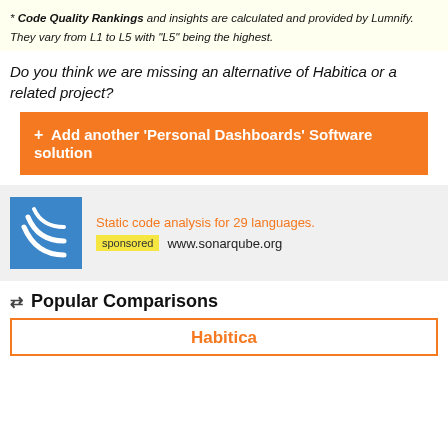* Code Quality Rankings and insights are calculated and provided by Lumnify.
They vary from L1 to L5 with "L5" being the highest.
Do you think we are missing an alternative of Habitica or a related project?
+ Add another 'Personal Dashboards' Software solution
[Figure (other): SonarQube advertisement: blue logo with arc lines, text 'Static code analysis for 29 languages.' in orange, sponsored badge in yellow, www.sonarqube.org]
⇄ Popular Comparisons
Habitica